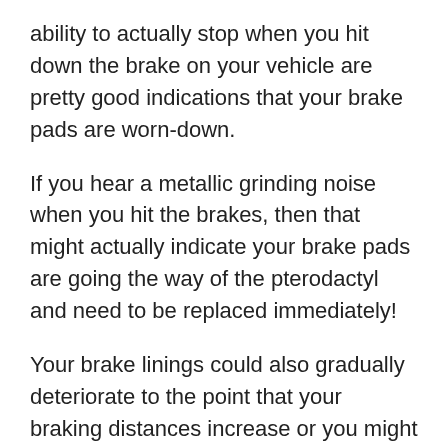ability to actually stop when you hit down the brake on your vehicle are pretty good indications that your brake pads are worn-down.
If you hear a metallic grinding noise when you hit the brakes, then that might actually indicate your brake pads are going the way of the pterodactyl and need to be replaced immediately!
Your brake linings could also gradually deteriorate to the point that your braking distances increase or you might find yourself pushing down the brake pedal more than usual to get the same effect.
That's where the tutored eye of a trained